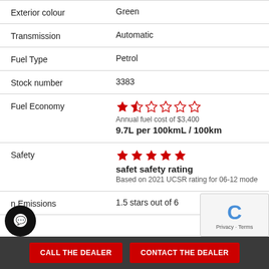| Property | Value |
| --- | --- |
| Exterior colour | Green |
| Transmission | Automatic |
| Fuel Type | Petrol |
| Stock number | 3383 |
| Fuel Economy | 1.5 stars (out of 6) | Annual fuel cost of $3,400 | 9.7L per 100kmL / 100km |
| Safety | 5 stars | safet safety rating | Based on 2021 UCSR rating for 06-12 mode |
| n Emissions | 1.5 stars out of 6 |